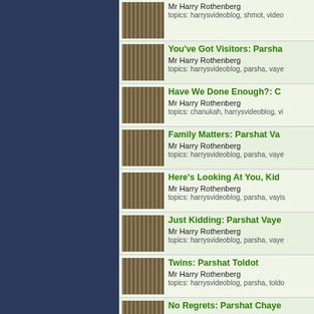Mr Harry Rothenberg
topics: harrysvideoblog, shmot, video
You've Got Visitors: Parsha...
Mr Harry Rothenberg
topics: harrysvideoblog, parsha, vaye...
Have We Done Enough?: C...
Mr Harry Rothenberg
topics: chanukah, harrysvideoblog, vi...
Family Matters: Parshat Va...
Mr Harry Rothenberg
topics: harrysvideoblog, parsha, vaye...
Here's Looking At You, Kid...
Mr Harry Rothenberg
topics: harrysvideoblog, parsha, vayis...
Just Kidding: Parshat Vaye...
Mr Harry Rothenberg
topics: harrysvideoblog, parsha, vaye...
Twins: Parshat Toldot
Mr Harry Rothenberg
topics: harrysvideoblog, parsha, toldo...
No Regrets: Parshat Chaye...
Mr Harry Rothenberg
topics: chayei sara, harrysvideoblog...